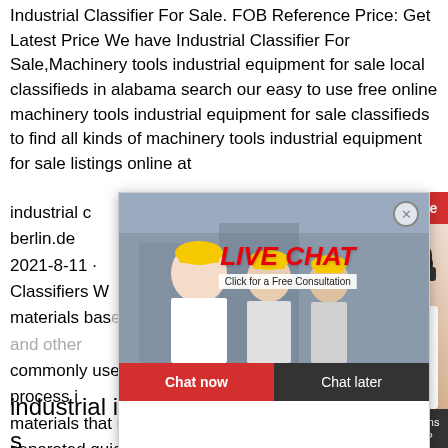Industrial Classifier For Sale. FOB Reference Price: Get Latest Price We have Industrial Classifier For Sale,Machinery tools industrial equipment for sale local classifieds in alabama search our easy to use free online machinery tools industrial equipment for sale classifieds to find all kinds of machinery tools industrial equipment for sale listings online at
industrial c... berlin.de 2021-8-11 · Classifiers W... materials base... commonly used in an industrial process i... materials that need to be separated quic... recycling centers an air classifier can sor... paper and plastics that arrive mixed toge...
[Figure (screenshot): Live Chat popup overlay showing workers wearing yellow hard hats on the left, a LIVE CHAT heading in red italic text with 'Click for a Free Consultation' subtitle, a close (X) button top right, and two buttons at the bottom: red 'Chat now' and dark 'Chat later'.]
[Figure (photo): Right-side panel showing '24Hrs Online' red banner and a customer service agent wearing a headset, smiling.]
Need questions & suggestion?
Chat Now
industrial industrial classifier for s... crusher